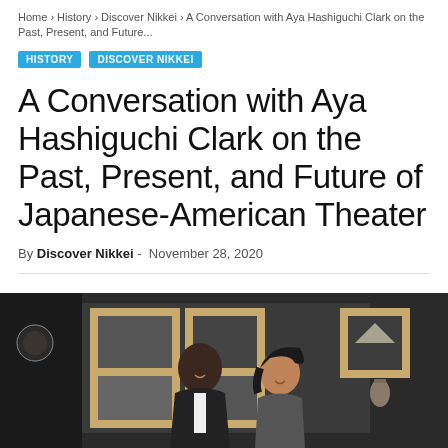Home › History › Discover Nikkei › A Conversation with Aya Hashiguchi Clark on the Past, Present, and Future...
HISTORY   DISCOVER NIKKEI
A Conversation with Aya Hashiguchi Clark on the Past, Present, and Future of Japanese-American Theater
By Discover Nikkei -  November 28, 2020
[Figure (photo): Two people, a man and a woman, seated and smiling in front of wooden shelving units against a dark gray wall. The man is wearing a suit, the woman has dark hair.]